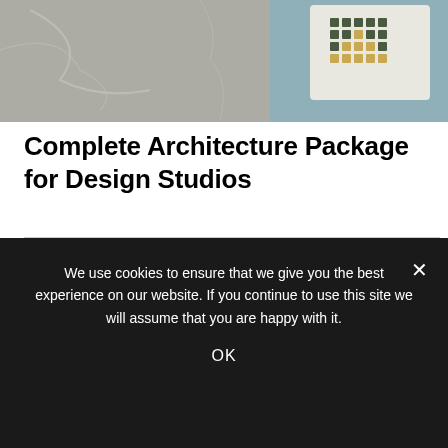[Figure (photo): Top banner photo showing marble surface with a tablet/card displaying a green and beige grid pattern on a teal/blue-gray background]
Complete Architecture Package for Design Studios
[Figure (photo): Photo of a hand holding a tablet device showing a book/document cover that reads 'Ver. 3.0 Complete Architecture Package' on a wooden surface background]
We use cookies to ensure that we give you the best experience on our website. If you continue to use this site we will assume that you are happy with it.
OK